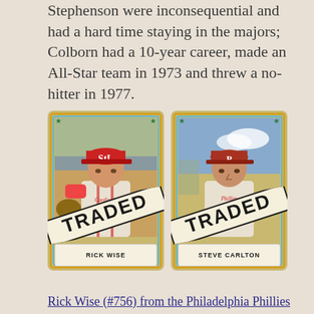Stephenson were inconsequential and had a hard time staying in the majors; Colborn had a 10-year career, made an All-Star team in 1973 and threw a no-hitter in 1977.
[Figure (photo): Two 1972 Topps baseball 'TRADED' cards side by side. Left card shows Rick Wise in a St. Louis Cardinals uniform with a diagonal TRADED stamp. Right card shows Steve Carlton in a Philadelphia Phillies uniform with a diagonal TRADED stamp.]
Rick Wise (#756) from the Philadelphia Phillies